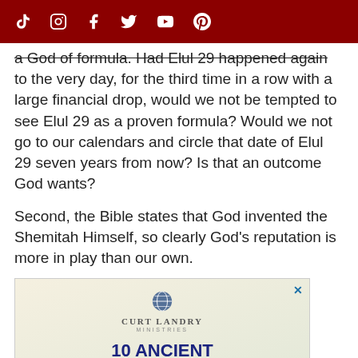Social media icons: TikTok, Instagram, Facebook, Twitter, YouTube, Pinterest
a God of formula. Had Elul 29 happened again to the very day, for the third time in a row with a large financial drop, would we not be tempted to see Elul 29 as a proven formula? Would we not go to our calendars and circle that date of Elul 29 seven years from now? Is that an outcome God wants?
Second, the Bible states that God invented the Shemitah Himself, so clearly God's reputation is more in play than our own.
[Figure (logo): Curt Landry Ministries advertisement with globe logo and text '10 ANCIENT']